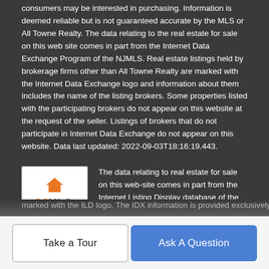consumers may be interested in purchasing. Information is deemed reliable but is not guaranteed accurate by the MLS or All Towne Realty. The data relating to the real estate for sale on this web site comes in part from the Internet Data Exchange Program of the NJMLS. Real estate listings held by brokerage firms other than All Towne Realty are marked with the Internet Data Exchange logo and information about them includes the name of the listing brokers. Some properties listed with the participating brokers do not appear on this website at the request of the seller. Listings of brokers that do not participate in Internet Data Exchange do not appear on this website. Data last updated: 2022-09-03T18:16:19.443.
[Figure (logo): CJMLS logo - Central Jersey Multiple Listing System logo with orange house icon and CJMLS text]
The data relating to real estate for sale on this web-site comes in part from the Internet Listing Display database of the CENTRAL JERSEY MULTIPLE LISTING SYSTEM, INC. Real estate listings held by brokerage firms other than this site-owner are
marked with the ILD logo. The IDX information is provided exclusively for consumers' personal, non-commercial use and may not be used for any purpose other than to identify prospective properties consumers may be interested in purchasing.